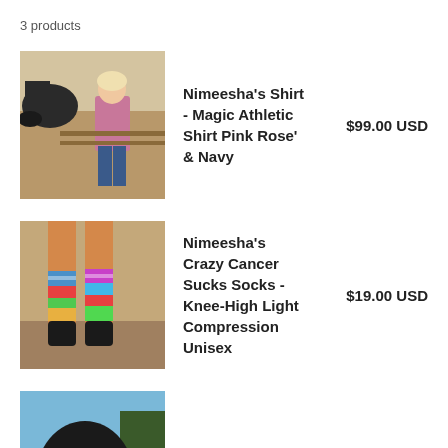3 products
Nimeesha's Shirt - Magic Athletic Shirt Pink Rose' & Navy
Nimeesha's Crazy Cancer Sucks Socks - Knee-High Light Compression Unisex
Support